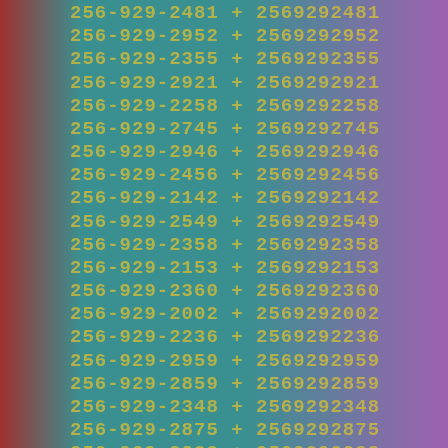256-929-2481 + 2569292481
256-929-2952 + 2569292952
256-929-2355 + 2569292355
256-929-2921 + 2569292921
256-929-2258 + 2569292258
256-929-2745 + 2569292745
256-929-2946 + 2569292946
256-929-2456 + 2569292456
256-929-2142 + 2569292142
256-929-2549 + 2569292549
256-929-2358 + 2569292358
256-929-2153 + 2569292153
256-929-2360 + 2569292360
256-929-2002 + 2569292002
256-929-2236 + 2569292236
256-929-2959 + 2569292959
256-929-2859 + 2569292859
256-929-2348 + 2569292348
256-929-2875 + 2569292875
256-929-2233 + 2569292233
256-929-2185 + 2569292185
256-929-2588 + 2569292588